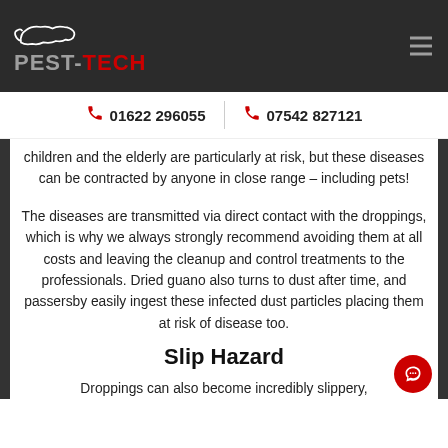PEST-TECH | 01622 296055 | 07542 827121
children and the elderly are particularly at risk, but these diseases can be contracted by anyone in close range – including pets!
The diseases are transmitted via direct contact with the droppings, which is why we always strongly recommend avoiding them at all costs and leaving the cleanup and control treatments to the professionals. Dried guano also turns to dust after time, and passersby easily ingest these infected dust particles placing them at risk of disease too.
Slip Hazard
Droppings can also become incredibly slippery,